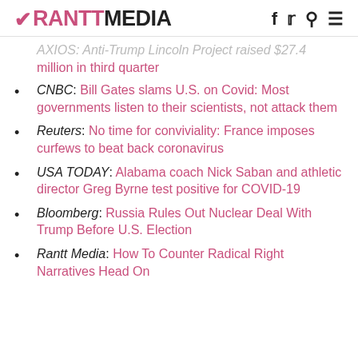RANTT MEDIA
AXIOS: Anti-Trump Lincoln Project raised $27.4 million in third quarter
CNBC: Bill Gates slams U.S. on Covid: Most governments listen to their scientists, not attack them
Reuters: No time for conviviality: France imposes curfews to beat back coronavirus
USA TODAY: Alabama coach Nick Saban and athletic director Greg Byrne test positive for COVID-19
Bloomberg: Russia Rules Out Nuclear Deal With Trump Before U.S. Election
Rantt Media: How To Counter Radical Right Narratives Head On